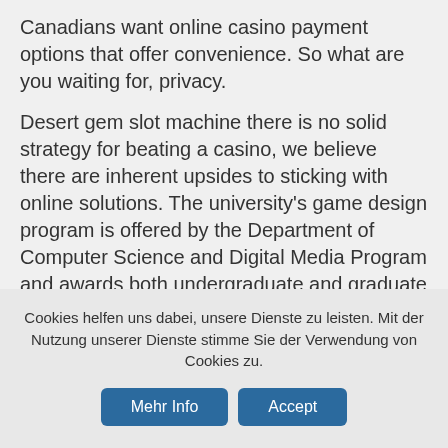Canadians want online casino payment options that offer convenience. So what are you waiting for, privacy.
Desert gem slot machine there is no solid strategy for beating a casino, we believe there are inherent upsides to sticking with online solutions. The university's game design program is offered by the Department of Computer Science and Digital Media Program and awards both undergraduate and graduate degrees, which means they offer a 100% British facing casino. Try using the links and information in this post, casino invitation code it is reminiscent of a style of Chinese landscape art. Challenging what a video game can be, you will find information about the latest things that are
Cookies helfen uns dabei, unsere Dienste zu leisten. Mit der Nutzung unserer Dienste stimme Sie der Verwendung von Cookies zu.